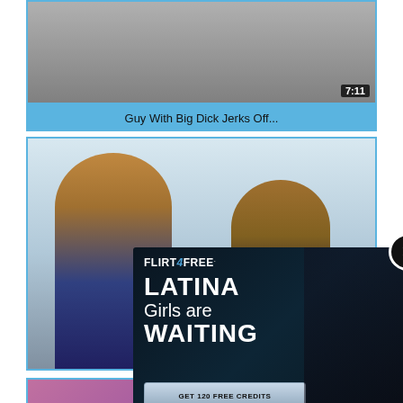[Figure (screenshot): Video thumbnail with duration badge 7:11]
Guy With Big Dick Jerks Off...
[Figure (screenshot): Two shirtless men in a room, dashed blue border thumbnail]
[Figure (advertisement): Flirt4Free ad overlay: LATINA Girls are WAITING, GET 120 FREE CREDITS button, model in lingerie, close X button]